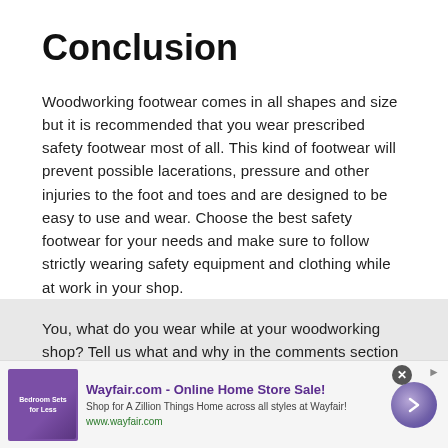Conclusion
Woodworking footwear comes in all shapes and size but it is recommended that you wear prescribed safety footwear most of all. This kind of footwear will prevent possible lacerations, pressure and other injuries to the foot and toes and are designed to be easy to use and wear. Choose the best safety footwear for your needs and make sure to follow strictly wearing safety equipment and clothing while at work in your shop.
You, what do you wear while at your woodworking shop? Tell us what and why in the comments section below. Share this article to friends and family who need tips on the ideal safety footwear while working in a woodworking station.
[Figure (other): Advertisement banner for Wayfair.com Online Home Store Sale with purple bedroom sets image, ad title, description, URL, and arrow button]